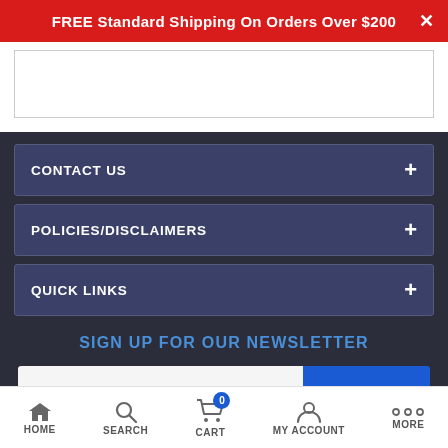FREE Standard Shipping On Orders Over $200
CONTACT US +
POLICIES/DISCLAIMERS +
QUICK LINKS +
SIGN UP FOR OUR NEWSLETTER
Enter your email address | SUBSCRIBE
HOME   SEARCH   CART (0)   MY ACCOUNT   MORE